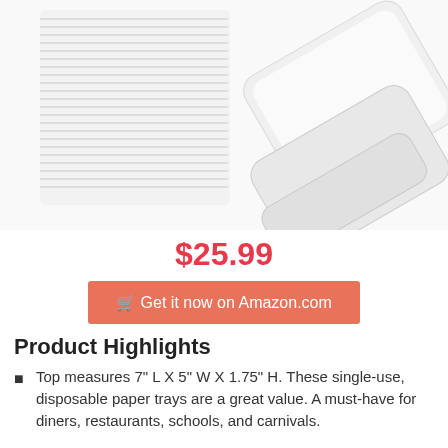[Figure (photo): Stack of white single-use disposable paper trays, with some trays fanned out showing rectangular shape with rounded corners]
$25.99
Get it now on Amazon.com
Product Highlights
Top measures 7" L X 5" W X 1.75" H. These single-use, disposable paper trays are a great value. A must-have for diners, restaurants, schools, and carnivals.